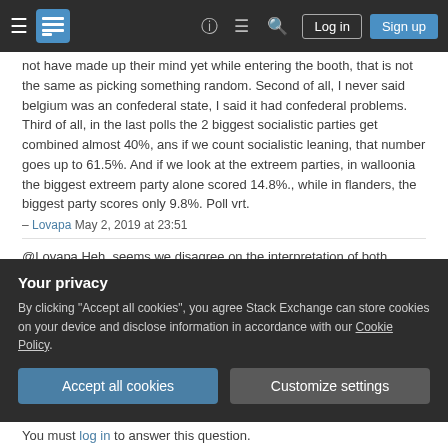Stack Exchange navigation bar with hamburger menu, logo, help, chat, search icons, Log in and Sign up buttons
not have made up their mind yet while entering the booth, that is not the same as picking something random. Second of all, I never said belgium was an confederal state, I said it had confederal problems. Third of all, in the last polls the 2 biggest socialistic parties get combined almost 40%, ans if we count socialistic leaning, that number goes up to 61.5%. And if we look at the extreem parties, in walloonia the biggest extreem party alone scored 14.8%., while in flanders, the biggest party scores only 9.8%. Poll vrt.
– Lovapa May 2, 2019 at 23:51
@Lovapa Heh, seems we disagree on the interpretation of both random, extreme and socialist
Your privacy
By clicking "Accept all cookies", you agree Stack Exchange can store cookies on your device and disclose information in accordance with our Cookie Policy.
Accept all cookies
Customize settings
You must log in to answer this question.